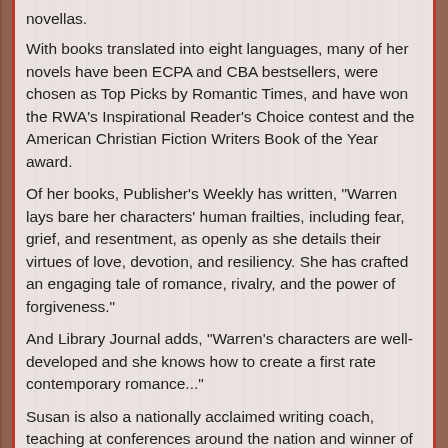novellas.
With books translated into eight languages, many of her novels have been ECPA and CBA bestsellers, were chosen as Top Picks by Romantic Times, and have won the RWA's Inspirational Reader's Choice contest and the American Christian Fiction Writers Book of the Year award.
Of her books, Publisher's Weekly has written, "Warren lays bare her characters' human frailties, including fear, grief, and resentment, as openly as she details their virtues of love, devotion, and resiliency. She has crafted an engaging tale of romance, rivalry, and the power of forgiveness."
And Library Journal adds, "Warren's characters are well-developed and she knows how to create a first rate contemporary romance..."
Susan is also a nationally acclaimed writing coach, teaching at conferences around the nation and winner of the 2009 American Christian Fiction Writers Mentor of the Year award. She loves to help people launch their writing careers and is the founder of Novel Academy, an online...